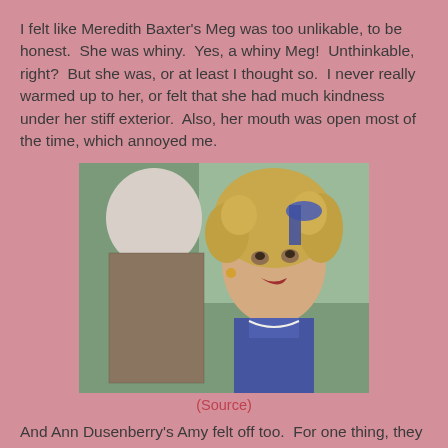I felt like Meredith Baxter's Meg was too unlikable, to be honest. She was whiny. Yes, a whiny Meg! Unthinkable, right? But she was, or at least I thought so. I never really warmed up to her, or felt that she had much kindness under her stiff exterior. Also, her mouth was open most of the time, which annoyed me.
[Figure (photo): A still from a film or TV show showing a young woman with curly blonde hair and a blue ribbon, wearing period costume, facing an older man with white hair seen from behind.]
(Source)
And Ann Dusenberry's Amy felt off too. For one thing, they had the same actress play Amy through the whole thing, and while I finally liked her pretty well when she was older and went to Europe with Aunt March, when she was little she